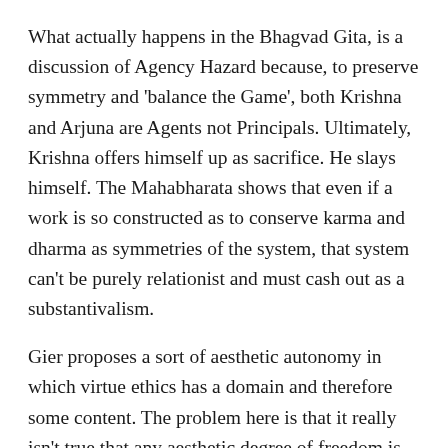What actually happens in the Bhagvad Gita, is a discussion of Agency Hazard because, to preserve symmetry and 'balance the Game', both Krishna and Arjuna are Agents not Principals. Ultimately, Krishna offers himself up as sacrifice. He slays himself. The Mahabharata shows that even if a work is so constructed as to conserve karma and dharma as symmetries of the system, that system can't be purely relationist and must cash out as a substantivalism.
Gier proposes a sort of aesthetic autonomy in which virtue ethics has a domain and therefore some content. The problem here is that it really isn't true that any aesthetic degree of freedom is good or bad by itself. Auerbach, in